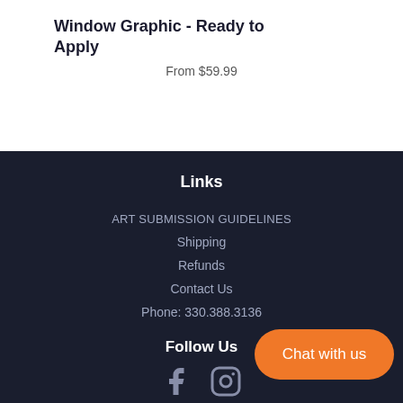Window Graphic - Ready to Apply
From $59.99
Links
ART SUBMISSION GUIDELINES
Shipping
Refunds
Contact Us
Phone: 330.388.3136
Follow Us
[Figure (illustration): Facebook and Instagram social media icons]
Chat with us